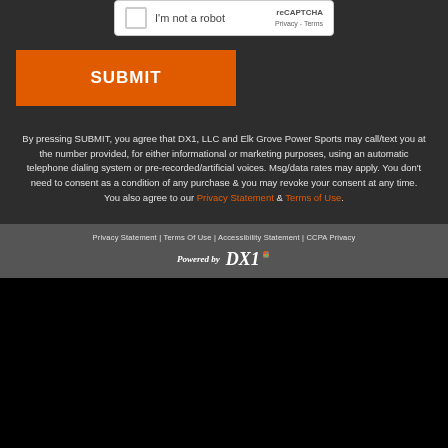[Figure (screenshot): reCAPTCHA checkbox widget with 'I'm not a robot' text and reCAPTCHA logo]
SUBMIT
By pressing SUBMIT, you agree that DX1, LLC and Elk Grove Power Sports may call/text you at the number provided, for either informational or marketing purposes, using an automatic telephone dialing system or pre-recorded/artificial voices. Msg/data rates may apply. You don't need to consent as a condition of any purchase & you may revoke your consent at any time. You also agree to our Privacy Statement & Terms of Use.
Privacy Statement | Terms Of Use | Accessibility Statement | CCPA Privacy
[Figure (logo): Powered by DX1 logo]